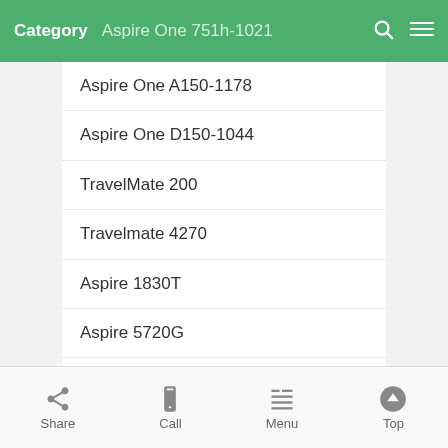Category  Aspire One 751h-1021
Aspire One A150-1178
Aspire One D150-1044
TravelMate 200
Travelmate 4270
Aspire 1830T
Aspire 5720G
Aspire 9410
Aspire One 751h-1211
Aspire One A150-1359
Aspire One D150-1240
TravelMate 5530G
Share  Call  Menu  Top